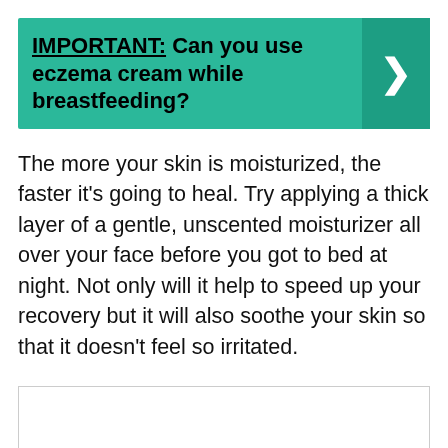IMPORTANT: Can you use eczema cream while breastfeeding?
The more your skin is moisturized, the faster it's going to heal. Try applying a thick layer of a gentle, unscented moisturizer all over your face before you got to bed at night. Not only will it help to speed up your recovery but it will also soothe your skin so that it doesn't feel so irritated.
[Figure (other): Empty bordered box at the bottom of the page]